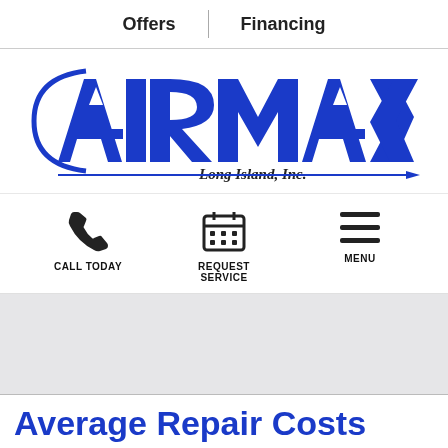Offers | Financing
[Figure (logo): Airmax Long Island, Inc. company logo in dark blue with stylized lettering and arc graphic]
[Figure (infographic): Three navigation icons: phone handset labeled CALL TODAY, calendar grid labeled REQUEST SERVICE, and hamburger menu labeled MENU]
Average Repair Costs